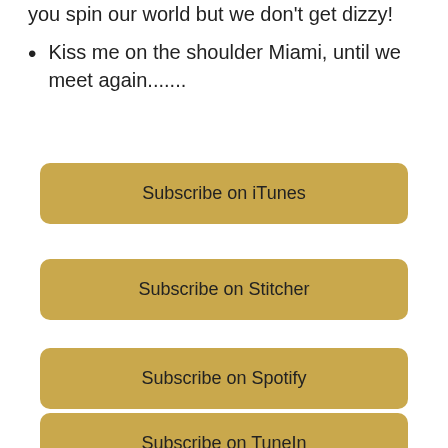you spin our world but we don't get dizzy!
Kiss me on the shoulder Miami, until we meet again.......
Subscribe on iTunes
Subscribe on Stitcher
Subscribe on Spotify
Subscribe on TuneIn